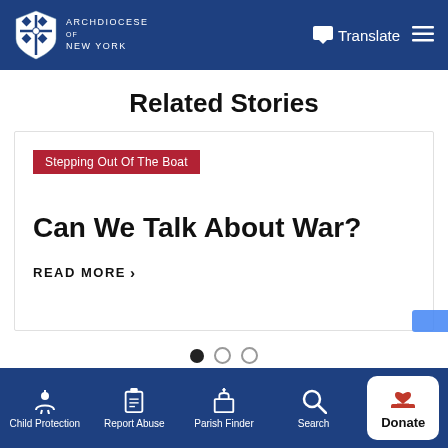Archdiocese of New York
Related Stories
Stepping Out Of The Boat
Can We Talk About War?
READ MORE >
Child Protection | Report Abuse | Parish Finder | Search | Donate